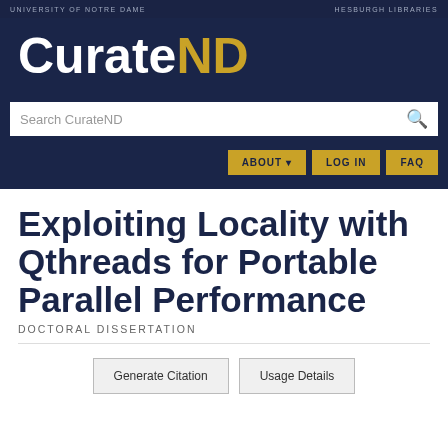UNIVERSITY of NOTRE DAME | HESBURGH LIBRARIES
CurateND
Search CurateND
ABOUT ▾   LOG IN   FAQ
Exploiting Locality with Qthreads for Portable Parallel Performance
DOCTORAL DISSERTATION
Generate Citation   Usage Details